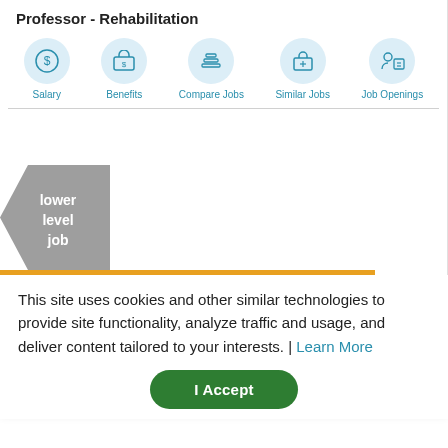Professor - Rehabilitation
[Figure (infographic): Navigation icons row: Salary (dollar coin icon), Benefits (wallet icon), Compare Jobs (layers icon), Similar Jobs (briefcase icon), Job Openings (person with document icon)]
[Figure (infographic): Partially visible lower level job arrow/chevron shape with text 'lower level job' and an orange progress bar at the bottom]
This site uses cookies and other similar technologies to provide site functionality, analyze traffic and usage, and deliver content tailored to your interests. | Learn More
I Accept